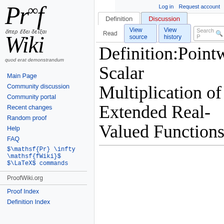Log in  Request account
[Figure (logo): ProofWiki logo with infinity symbol, Greek text 'όπερ έδει δείξαι', Wiki stylized text, and Latin text 'quod erat demonstrandum']
Main Page
Community discussion
Community portal
Recent changes
Random proof
Help
FAQ
$\mathsf{Pr} \infty \mathsf{fWiki}$ $\LaTeX$ commands
ProofWiki.org
Proof Index
Definition Index
Definition:Pointwise Scalar Multiplication of Extended Real-Valued Functions